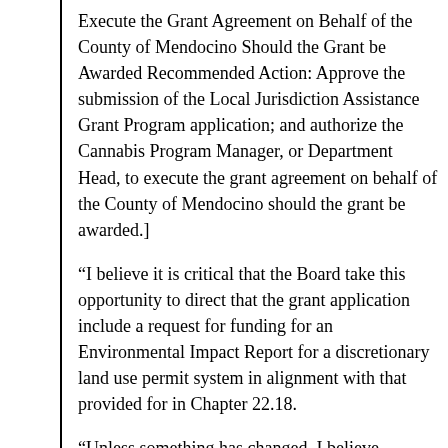Execute the Grant Agreement on Behalf of the County of Mendocino Should the Grant be Awarded Recommended Action: Approve the submission of the Local Jurisdiction Assistance Grant Program application; and authorize the Cannabis Program Manager, or Department Head, to execute the grant agreement on behalf of the County of Mendocino should the grant be awarded.]
“I believe it is critical that the Board take this opportunity to direct that the grant application include a request for funding for an Environmental Impact Report for a discretionary land use permit system in alignment with that provided for in Chapter 22.18.
“Unless something has changed, I believe